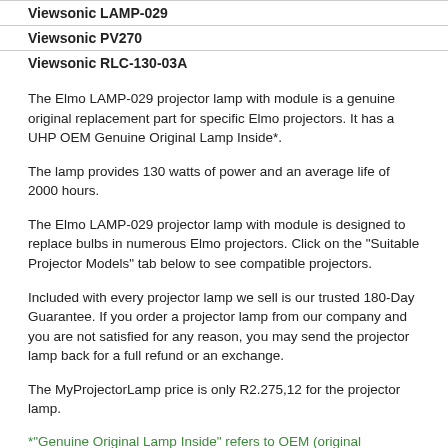Viewsonic LAMP-029
Viewsonic PV270
Viewsonic RLC-130-03A
The Elmo LAMP-029 projector lamp with module is a genuine original replacement part for specific Elmo projectors. It has a UHP OEM Genuine Original Lamp Inside*.
The lamp provides 130 watts of power and an average life of 2000 hours.
The Elmo LAMP-029 projector lamp with module is designed to replace bulbs in numerous Elmo projectors. Click on the "Suitable Projector Models" tab below to see compatible projectors.
Included with every projector lamp we sell is our trusted 180-Day Guarantee. If you order a projector lamp from our company and you are not satisfied for any reason, you may send the projector lamp back for a full refund or an exchange.
The MyProjectorLamp price is only R2.275,12 for the projector lamp.
*"Genuine Original Lamp Inside" refers to OEM (original equipment manufacturer) bare projector bulbs - made by Philips